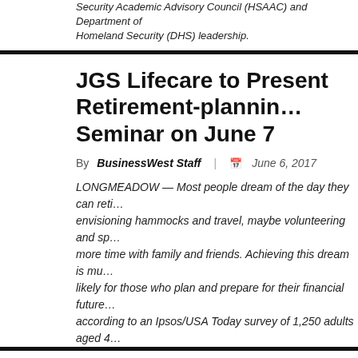Security Academic Advisory Council (HSAAC) and Department of Homeland Security (DHS) leadership.
JGS Lifecare to Present Retirement-planning Seminar on June 7
By BusinessWest Staff | June 6, 2017
LONGMEADOW — Most people dream of the day they can retire, envisioning hammocks and travel, maybe volunteering and spending more time with family and friends. Achieving this dream is much more likely for those who plan and prepare for their financial future, according to an Ipsos/USA Today survey of 1,250 adults aged 4
Bay Path to Host Hearing on Cyber Threats, Career Opportunities